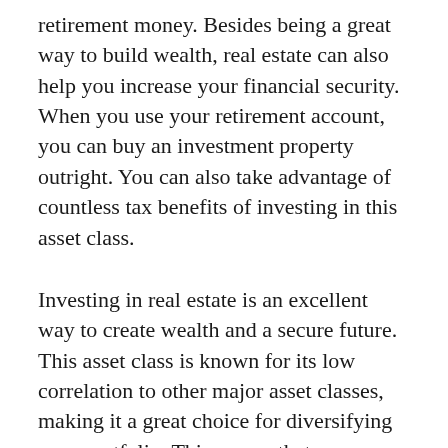retirement money. Besides being a great way to build wealth, real estate can also help you increase your financial security. When you use your retirement account, you can buy an investment property outright. You can also take advantage of countless tax benefits of investing in this asset class.
Investing in real estate is an excellent way to create wealth and a secure future. This asset class is known for its low correlation to other major asset classes, making it a great choice for diversifying your portfolio. This means that you can make more money while avoiding a lot of risk. The tax benefits are immense, but the most important benefit of investing in real estate is that you can use the property for different purposes. While you may use your investment property as a home or store, it will never